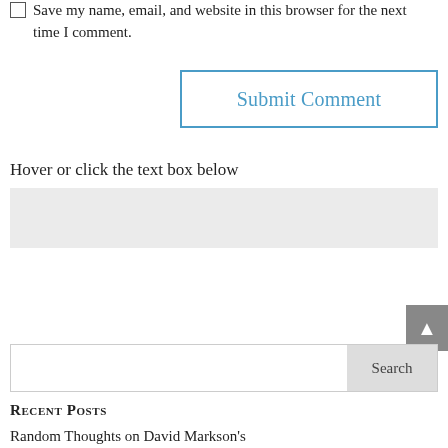Save my name, email, and website in this browser for the next time I comment.
Submit Comment
Hover or click the text box below
[Figure (other): Empty light gray text input area]
[Figure (other): Scroll to top button with upward arrow, gray background]
Search
Recent Posts
Random Thoughts on David Markson's